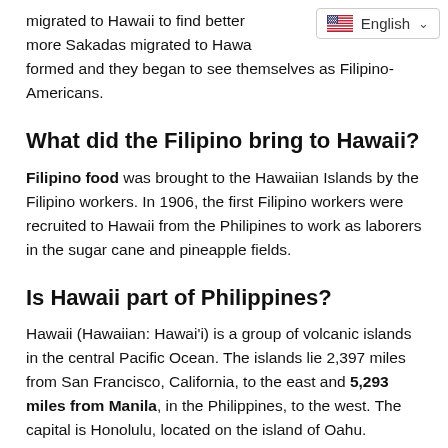migrated to Hawaii to find better more Sakadas migrated to Hawa... formed and they began to see themselves as Filipino-Americans.
[Figure (screenshot): Language selector widget showing US flag and 'English' with a dropdown chevron]
What did the Filipino bring to Hawaii?
Filipino food was brought to the Hawaiian Islands by the Filipino workers. In 1906, the first Filipino workers were recruited to Hawaii from the Philipines to work as laborers in the sugar cane and pineapple fields.
Is Hawaii part of Philippines?
Hawaii (Hawaiian: Hawai'i) is a group of volcanic islands in the central Pacific Ocean. The islands lie 2,397 miles from San Francisco, California, to the east and 5,293 miles from Manila, in the Philippines, to the west. The capital is Honolulu, located on the island of Oahu.
Are Filipinos Polynesian?